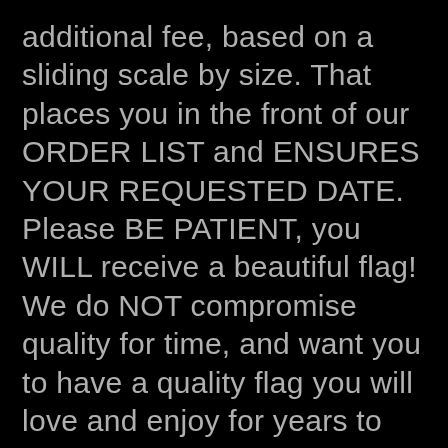additional fee, based on a sliding scale by size. That places you in the front of our ORDER LIST and ENSURES YOUR REQUESTED DATE. Please BE PATIENT, you WILL receive a beautiful flag! We do NOT compromise quality for time, and want you to have a quality flag you will love and enjoy for years to come!

What is the Custom Heritage difference? Because THERE IS A DIFFERENCE, not all flags are created